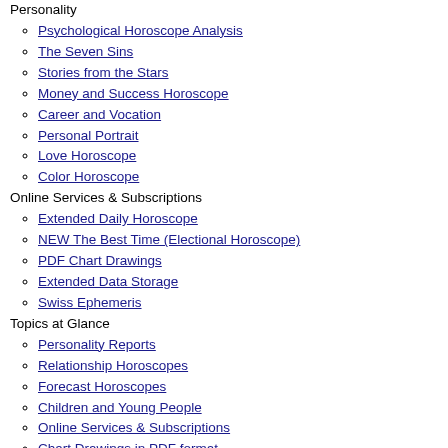Personality
Psychological Horoscope Analysis
The Seven Sins
Stories from the Stars
Money and Success Horoscope
Career and Vocation
Personal Portrait
Love Horoscope
Color Horoscope
Online Services & Subscriptions
Extended Daily Horoscope
NEW The Best Time (Electional Horoscope)
PDF Chart Drawings
Extended Data Storage
Swiss Ephemeris
Topics at Glance
Personality Reports
Relationship Horoscopes
Forecast Horoscopes
Children and Young People
Online Services & Subscriptions
Chart Drawings in PDF format
Relationship
Relationship Horoscope
Horoscope for Two